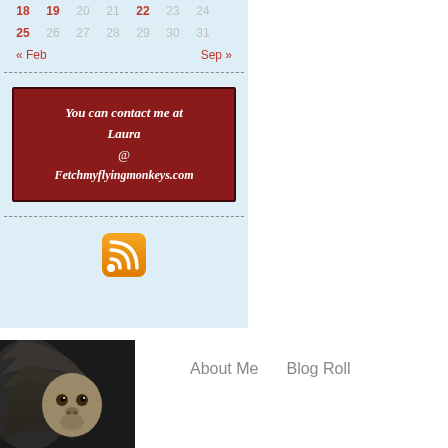| 18 | 19 | 20 | 21 | 22 | 23 | 24 |
| 25 | 26 | 27 | 28 | 29 | 30 | 31 |
« Feb    Sep »
[Figure (other): Contact information box with dark red background, text: You can contact me at Laura @ Fetchmyflyingmonkeys.com]
[Figure (other): Orange RSS feed icon/button]
[Figure (photo): Photo of a monkey with large wings (flying monkey) shown from chest up]
About Me    Blog Roll